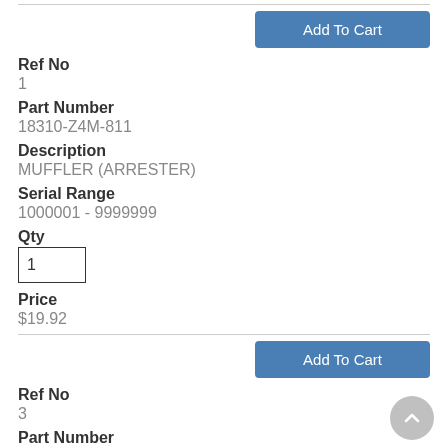Add To Cart
Ref No
1
Part Number
18310-Z4M-811
Description
MUFFLER (ARRESTER)
Serial Range
1000001 - 9999999
Qty
1
Price
$19.92
Add To Cart
Ref No
3
Part Number